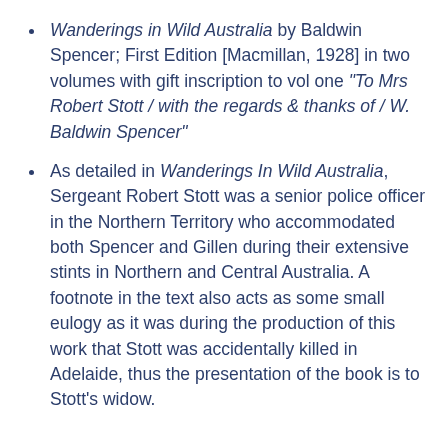Wanderings in Wild Australia by Baldwin Spencer; First Edition [Macmillan, 1928] in two volumes with gift inscription to vol one "To Mrs Robert Stott / with the regards & thanks of / W. Baldwin Spencer"
As detailed in Wanderings In Wild Australia, Sergeant Robert Stott was a senior police officer in the Northern Territory who accommodated both Spencer and Gillen during their extensive stints in Northern and Central Australia. A footnote in the text also acts as some small eulogy as it was during the production of this work that Stott was accidentally killed in Adelaide, thus the presentation of the book is to Stott's widow.